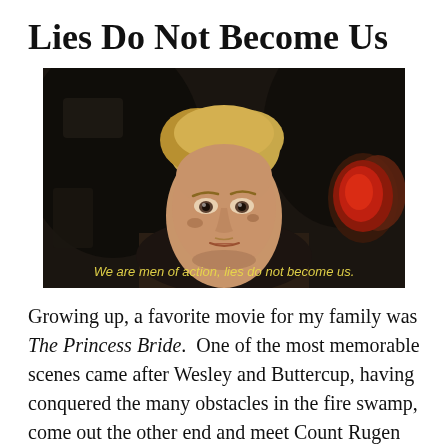Lies Do Not Become Us
[Figure (screenshot): Movie still from The Princess Bride showing a blond man looking intensely at the camera, with subtitle text reading: We are men of action, lies do not become us.]
Growing up, a favorite movie for my family was The Princess Bride. One of the most memorable scenes came after Wesley and Buttercup, having conquered the many obstacles in the fire swamp, come out the other end and meet Count Rugen and his lackeys who are ready to arrest Wesley and bring Buttercup back to Prince Humperdinck. After Buttercup pleads that...